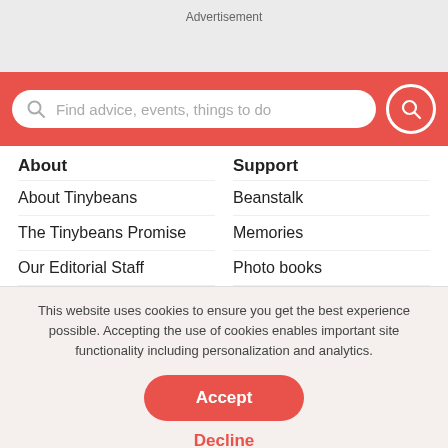Advertisement
[Figure (screenshot): Search bar with red background. Text says: Find advice, events, things to do]
About
Support
About Tinybeans
Beanstalk
The Tinybeans Promise
Memories
Our Editorial Staff
Photo books
This website uses cookies to ensure you get the best experience possible. Accepting the use of cookies enables important site functionality including personalization and analytics.
Accept
Decline